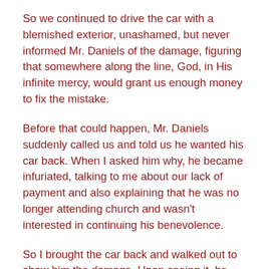So we continued to drive the car with a blemished exterior, unashamed, but never informed Mr. Daniels of the damage, figuring that somewhere along the line, God, in His infinite mercy, would grant us enough money to fix the mistake.
Before that could happen, Mr. Daniels suddenly called us and told us he wanted his car back. When I asked him why, he became infuriated, talking to me about our lack of payment and also explaining that he was no longer attending church and wasn't interested in continuing his benevolence.
So I brought the car back and walked out to show him the damage. Upon seeing it, he became enraged, asked me why we hadn't shared about the situation sooner, and then told me that he had decided to charge us ten cents a mile